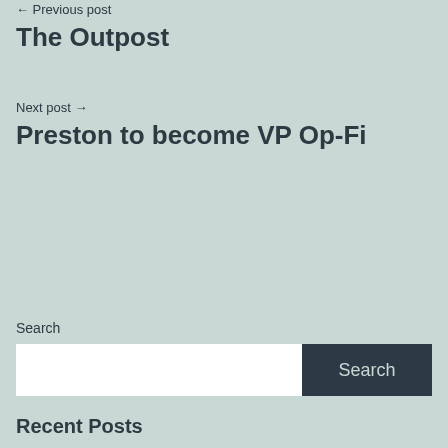← Previous post
The Outpost
Next post →
Preston to become VP Op-Fi
Search
[Figure (other): Search input field with white background and a dark navy Search button on the right]
Recent Posts